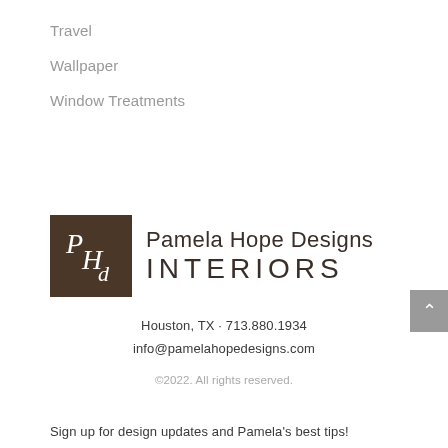Travel
Wallpaper
Window Treatments
[Figure (logo): Pamela Hope Designs Interiors logo: brown square with PHd monogram in italic serif, beside company name text]
Houston, TX · 713.880.1934
info@pamelahopedesigns.com
©2022. All rights reserved.
Sign up for design updates and Pamela's best tips!